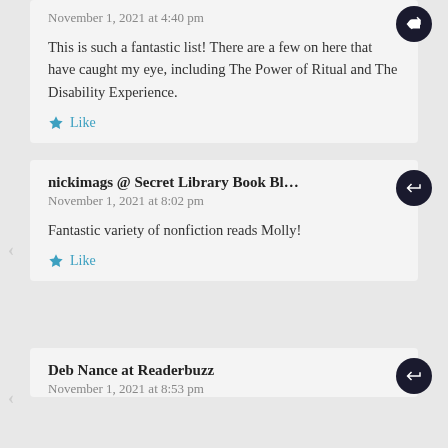November 1, 2021 at 4:40 pm
This is such a fantastic list! There are a few on here that have caught my eye, including The Power of Ritual and The Disability Experience.
Like
nickimags @ Secret Library Book Bl…
November 1, 2021 at 8:02 pm
Fantastic variety of nonfiction reads Molly!
Like
Deb Nance at Readerbuzz
November 1, 2021 at 8:53 pm